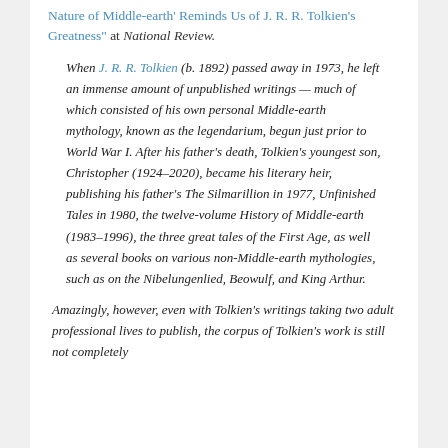Nature of Middle-earth' Reminds Us of J. R. R. Tolkien's Greatness" at National Review.
When J. R. R. Tolkien (b. 1892) passed away in 1973, he left an immense amount of unpublished writings — much of which consisted of his own personal Middle-earth mythology, known as the legendarium, begun just prior to World War I. After his father's death, Tolkien's youngest son, Christopher (1924–2020), became his literary heir, publishing his father's The Silmarillion in 1977, Unfinished Tales in 1980, the twelve-volume History of Middle-earth (1983–1996), the three great tales of the First Age, as well as several books on various non-Middle-earth mythologies, such as on the Nibelungenlied, Beowulf, and King Arthur.
Amazingly, however, even with Tolkien's writings taking two adult professional lives to publish, the corpus of Tolkien's work is still not completely